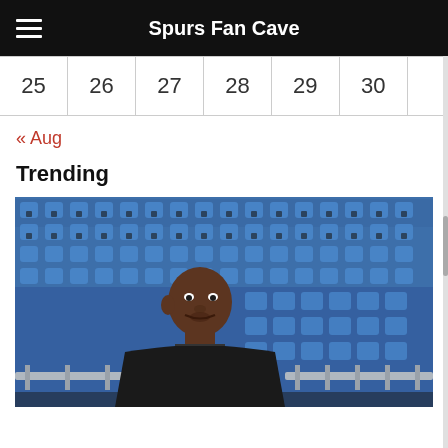Spurs Fan Cave
| 25 | 26 | 27 | 28 | 29 | 30 |
| --- | --- | --- | --- | --- | --- |
« Aug
Trending
[Figure (photo): A man in a black polo shirt speaking in an empty arena with blue seats and metal barricades in the background.]